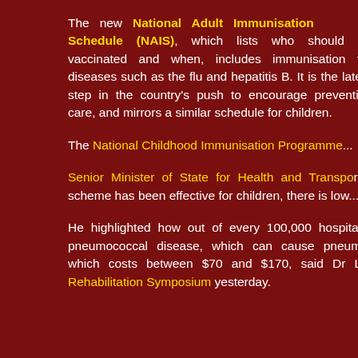The new National Adult Immunisation Schedule (NAIS), which lists who should be vaccinated and when, includes immunisation for diseases such as the flu and hepatitis B. It is the latest step in the country's push to encourage preventive care, and mirrors a similar schedule for children.
The National Childhood Immunisation Programme...
Senior Minister of State for Health and Transport... scheme has been effective for children, there is low...
He highlighted how out of every 100,000 hospital... pneumococcal disease, which can cause pneum... which costs between $70 and $170, said Dr L... Rehabilitation Symposium yesterday.